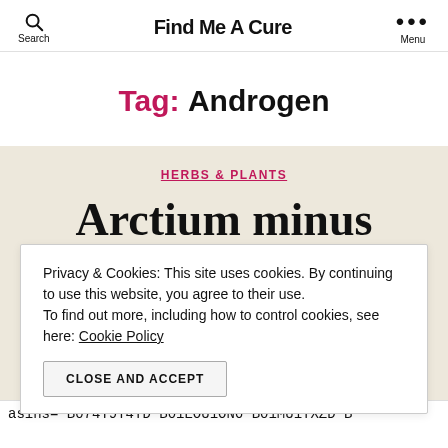Find Me A Cure
Tag: Androgen
HERBS & PLANTS
Arctium minus
Privacy & Cookies: This site uses cookies. By continuing to use this website, you agree to their use. To find out more, including how to control cookies, see here: Cookie Policy
CLOSE AND ACCEPT
asins='B074T9T4TD B01EOU1ON6 B01MU1TXZD B